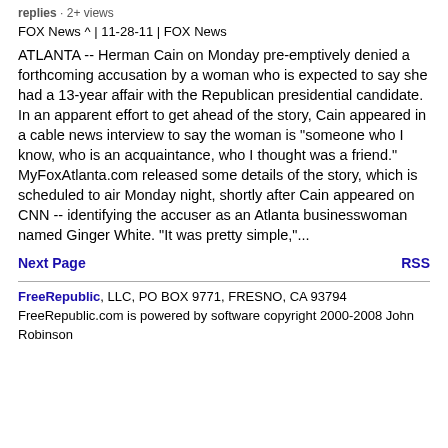replies · 2+ views
FOX News ^ | 11-28-11 | FOX News
ATLANTA -- Herman Cain on Monday pre-emptively denied a forthcoming accusation by a woman who is expected to say she had a 13-year affair with the Republican presidential candidate. In an apparent effort to get ahead of the story, Cain appeared in a cable news interview to say the woman is "someone who I know, who is an acquaintance, who I thought was a friend." MyFoxAtlanta.com released some details of the story, which is scheduled to air Monday night, shortly after Cain appeared on CNN -- identifying the accuser as an Atlanta businesswoman named Ginger White. "It was pretty simple,"...
Next Page    RSS
FreeRepublic, LLC, PO BOX 9771, FRESNO, CA 93794
FreeRepublic.com is powered by software copyright 2000-2008 John Robinson